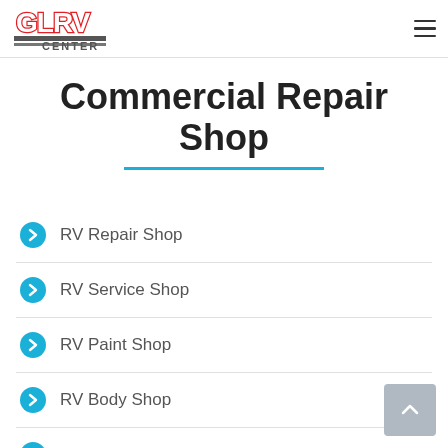GLRV CENTER [logo] [hamburger menu]
Commercial Repair Shop
RV Repair Shop
RV Service Shop
RV Paint Shop
RV Body Shop
RV Mechanics
RV Maintenance